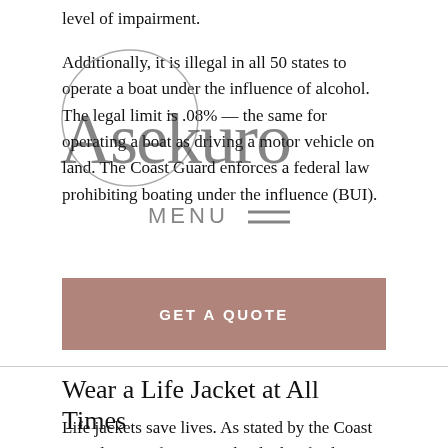level of impairment.
Additionally, it is illegal in all 50 states to operate a boat under the influence of alcohol. The legal limit is .08% — the same for operating a boat as driving a motor vehicle on land. The Coast Guard enforces a federal law prohibiting boating under the influence (BUI).
[Figure (logo): Asekuro brand watermark with circle logo and MENU navigation overlay]
GET A QUOTE
Wear a Life Jacket at All Times
Life jackets save lives. As stated by the Coast Guard, 75% of victims who died in fatal boating accidents in 2020 drowned. Although some state